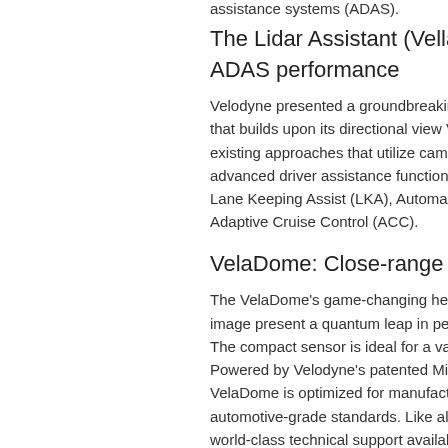assistance systems (ADAS).
The Lidar Assistant (Vella): Softw... ADAS performance
Velodyne presented a groundbreaking adva... that builds upon its directional view Velarray... existing approaches that utilize camera+rac... advanced driver assistance functionalities o... Lane Keeping Assist (LKA), Automatic Eme... Adaptive Cruise Control (ACC).
VelaDome: Close-range precisior...
The VelaDome's game-changing hemisphericl... image present a quantum leap in pedestrian... The compact sensor is ideal for a variety of... Powered by Velodyne's patented Micro Lidar... VelaDome is optimized for manufacturability... automotive-grade standards. Like all Velody... world-class technical support available acro... Asia.
Labels: Velodyne Lidar, short-range sensor, driver... autonomous
← Back to Products